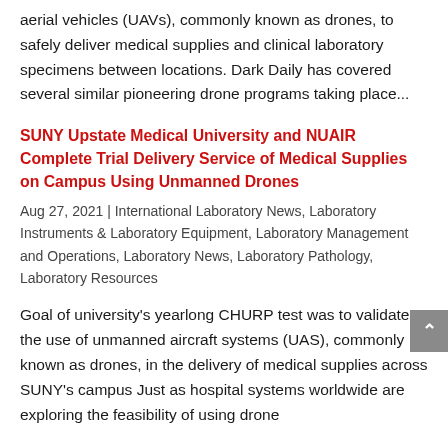aerial vehicles (UAVs), commonly known as drones, to safely deliver medical supplies and clinical laboratory specimens between locations. Dark Daily has covered several similar pioneering drone programs taking place...
SUNY Upstate Medical University and NUAIR Complete Trial Delivery Service of Medical Supplies on Campus Using Unmanned Drones
Aug 27, 2021 | International Laboratory News, Laboratory Instruments & Laboratory Equipment, Laboratory Management and Operations, Laboratory News, Laboratory Pathology, Laboratory Resources
Goal of university's yearlong CHURP test was to validate the use of unmanned aircraft systems (UAS), commonly known as drones, in the delivery of medical supplies across SUNY's campus Just as hospital systems worldwide are exploring the feasibility of using drone